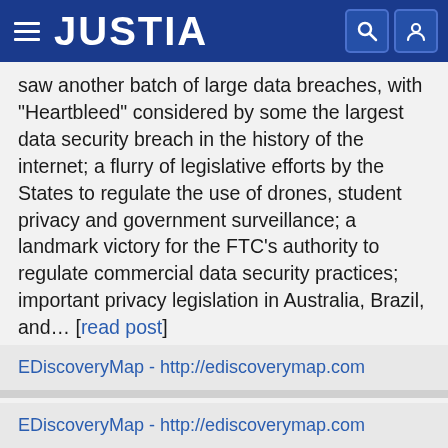JUSTIA
saw another batch of large data breaches, with “Heartbleed” considered by some the largest data security breach in the history of the internet; a flurry of legislative efforts by the States to regulate the use of drones, student privacy and government surveillance; a landmark victory for the FTC’s authority to regulate commercial data security practices; important privacy legislation in Australia, Brazil, and... [read post]
EDiscoveryMap - http://ediscoverymap.com
How EdiscoveryMap Kept You Informed in 2011
2 Jan 2012, 11:29 am by Monique Altheim
And finally, she created a new website for her law firm, The Law Office of Monique Altheim. [read post]
EDiscoveryMap - http://ediscoverymap.com